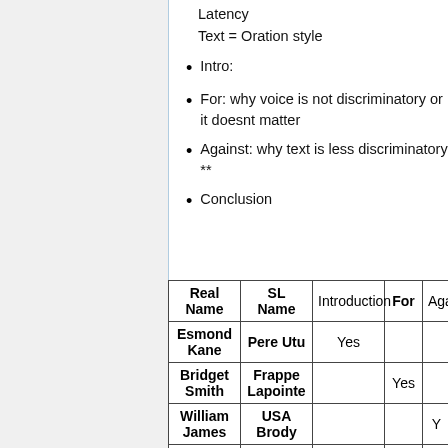Latency
Text = Oration style
Intro:
For: why voice is not discriminatory or it doesnt matter
Against: why text is less discriminatory **
Conclusion
| Real Name | SL Name | Introduction | For | Aga... |
| --- | --- | --- | --- | --- |
| Esmond Kane | Pere Utu | Yes |  |  |
| Bridget Smith | Frappe Lapointe |  | Yes |  |
| William James | USA Brody |  |  | Y... |
| Yvette | Yvette |  |  |  |